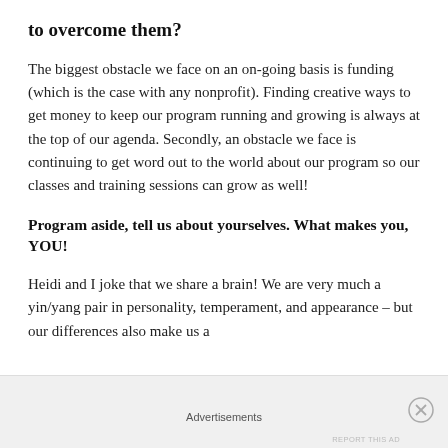to overcome them?
The biggest obstacle we face on an on-going basis is funding (which is the case with any nonprofit). Finding creative ways to get money to keep our program running and growing is always at the top of our agenda. Secondly, an obstacle we face is continuing to get word out to the world about our program so our classes and training sessions can grow as well!
Program aside, tell us about yourselves. What makes you, YOU!
Heidi and I joke that we share a brain! We are very much a yin/yang pair in personality, temperament, and appearance – but our differences also make us a
Advertisements